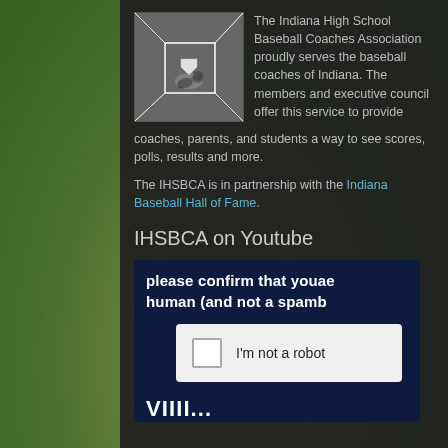[Figure (photo): Black and white aerial photo of a baseball play at home plate]
The Indiana High School Baseball Coaches Association proudly serves the baseball coaches of Indiana. The members and executive council offer this service to provide coaches, parents, and students a way to see scores, polls, results and more.
The IHSBCA is in partnership with the Indiana Baseball Hall of Fame.
IHSBCA on Youtube
[Figure (screenshot): YouTube CAPTCHA widget with 'please confirm that youae human (and not a spamb' prompt and 'I'm not a robot' checkbox]
VIIII...